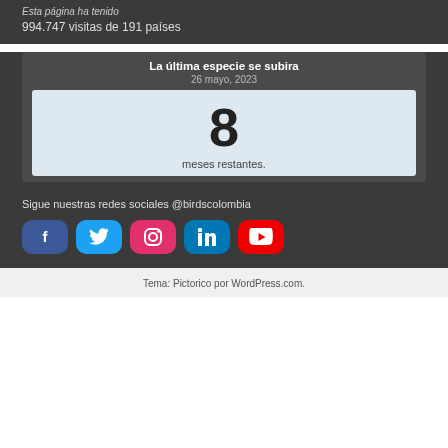Esta página ha tenido
994.747 visitas de 191 países
La última especie se subira
26 mayo, 2023
8
meses restantes.
Sigue nuestras redes sociales @birdscolombia
[Figure (infographic): Social media icons: Facebook, Twitter, Instagram, LinkedIn, YouTube]
Tema: Pictorico por WordPress.com.